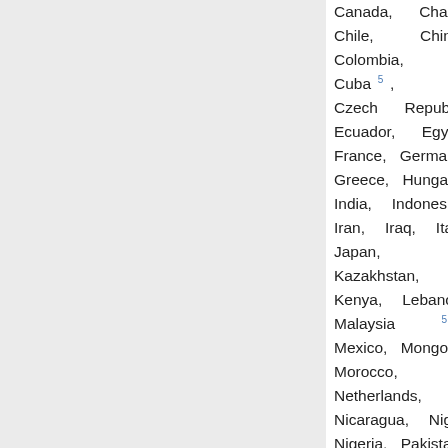Canada, Chad, Chile, China, Colombia, Cuba 5 , Czech Republic, Ecuador, Egypt, France, Germany, Greece, Hungary, India, Indonesia, Iran, Iraq, Italy, Japan, Kazakhstan, Kenya, Lebanon, Malaysia 5 , Mexico, Mongolia, Morocco, Netherlands, Nicaragua, Niger, Nigeria, Pakistan, Peru 5 , Philippines, Poland, Portugal, Republic of Korea 5 , Romania, the